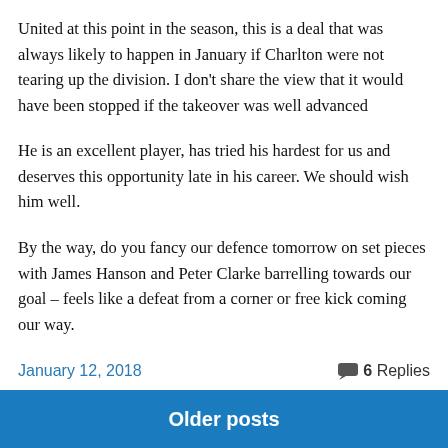United at this point in the season, this is a deal that was always likely to happen in January if Charlton were not tearing up the division. I don’t share the view that it would have been stopped if the takeover was well advanced
He is an excellent player, has tried his hardest for us and deserves this opportunity late in his career. We should wish him well.
By the way, do you fancy our defence tomorrow on set pieces with James Hanson and Peter Clarke barrelling towards our goal – feels like a defeat from a corner or free kick coming our way.
January 12, 2018    6 Replies
Older posts